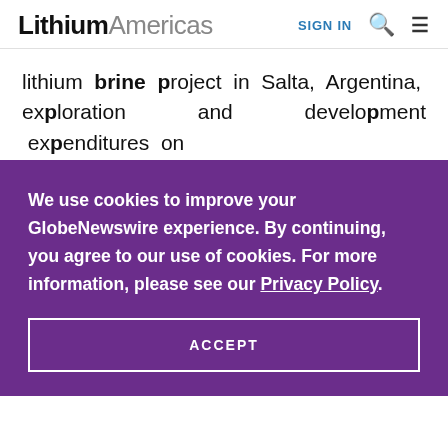Lithium Americas | SIGN IN
lithium brine project in Salta, Argentina, exploration and development expenditures on the Company's lithium assets and for general
We use cookies to improve your GlobeNewswire experience. By continuing, you agree to our use of cookies. For more information, please see our Privacy Policy.
ACCEPT